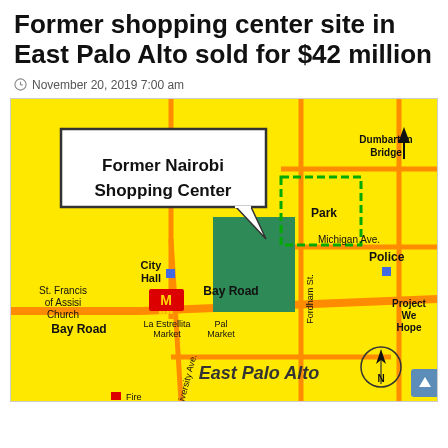Former shopping center site in East Palo Alto sold for $42 million
November 20, 2019 7:00 am
[Figure (map): Street map of East Palo Alto showing Former Nairobi Shopping Center location, with surrounding landmarks: City Hall, St. Francis of Assisi Church, La Estrellita Market, Pal Market, Park, Michigan Ave., Fordham St., Bay Road, University Ave., Police, Project We Hope, Dumbarton Bridge, and East Palo Alto label. Compass rose shown in lower right.]